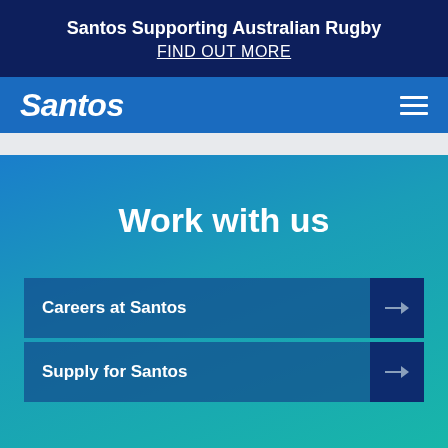Santos Supporting Australian Rugby
FIND OUT MORE
[Figure (logo): Santos company logo in white italic text on blue navigation bar with hamburger menu icon on right]
Work with us
Careers at Santos
Supply for Santos